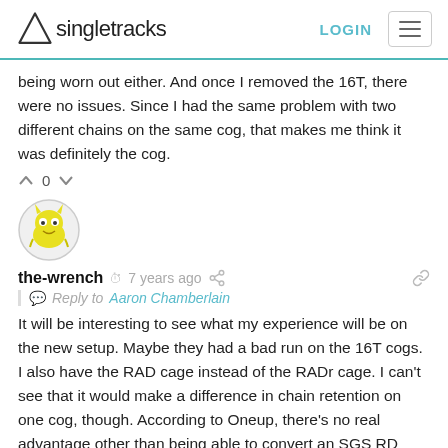Singletracks | LOGIN
being worn out either. And once I removed the 16T, there were no issues. Since I had the same problem with two different chains on the same cog, that makes me think it was definitely the cog.
^ 0 v
[Figure (illustration): Avatar icon of a yellow monster character in a circular frame]
the-wrench  7 years ago  | Reply to Aaron Chamberlain
It will be interesting to see what my experience will be on the new setup. Maybe they had a bad run on the 16T cogs. I also have the RAD cage instead of the RADr cage. I can't see that it would make a difference in chain retention on one cog, though. According to Oneup, there's no real advantage other than being able to convert an SGS RD without having to buy the inner cage (I asked them), but I think the RADr cage is